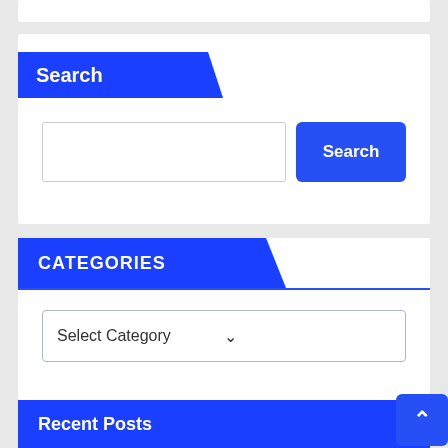Search
Search input field and Search button
CATEGORIES
Select Category
Recent Posts